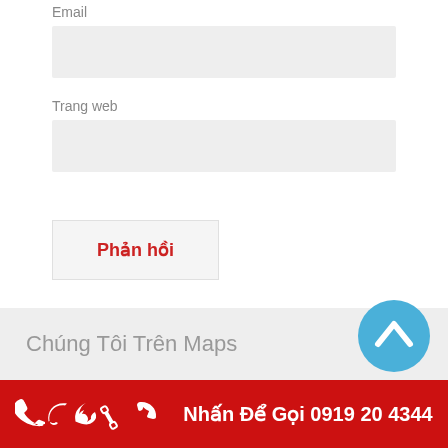Email
Trang web
Phản hồi
Chúng Tôi Trên Maps
Nhấn Để Gọi 0919 20 4344